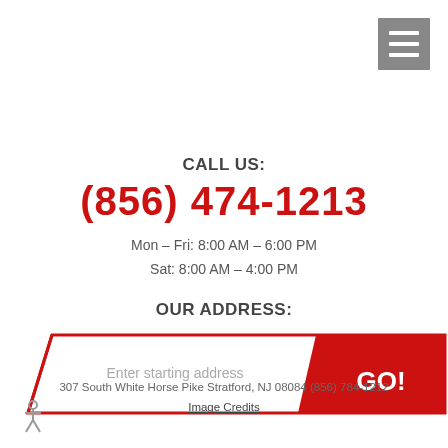[Figure (other): Hamburger menu icon (three horizontal white lines on grey square background) in top right corner]
CALL US:
(856) 474-1213
Mon – Fri: 8:00 AM – 6:00 PM
Sat: 8:00 AM – 4:00 PM
OUR ADDRESS:
307 South White Horse Pike
Stratford, NJ 08084
[Figure (other): Address search bar with angled/parallelogram shape, placeholder text 'Enter starting address' and red GO! button on the right]
307 South White Horse Pike Stratford, NJ 08084 (856) 784-1212
Image Credits